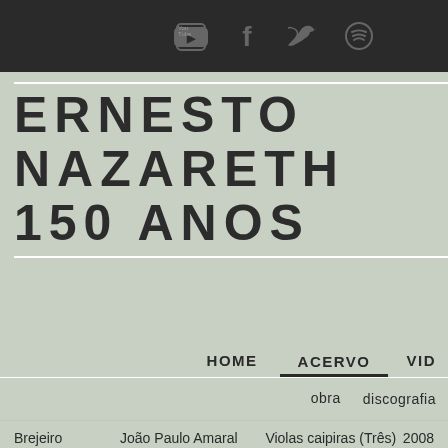Social icons: YouTube, Facebook, Twitter, Spotify
ERNESTO NAZARETH 150 ANOS
Navigation: HOME | ACERVO | VID...
obra    discografia
| Título | Intérprete | Álbum | Ano |
| --- | --- | --- | --- |
| Brejeiro | João Paulo Amaral | Violas caipiras (Três) | 2008 |
| Brejeiro | João Paulo Amaral | Violas caipiras (Três) | 2008 |